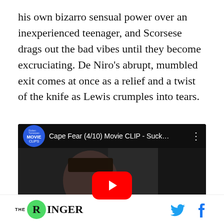his own bizarro sensual power over an inexperienced teenager, and Scorsese drags out the bad vibes until they become excruciating. De Niro's abrupt, mumbled exit comes at once as a relief and a twist of the knife as Lewis crumples into tears.
[Figure (screenshot): Embedded YouTube video thumbnail showing Cape Fear (4/10) Movie CLIP - Suck... with a young girl in the frame and a red YouTube play button overlay. The Rotten Tomatoes Movie Clips logo appears in the top left.]
THE RINGER [with Twitter and Facebook social icons]